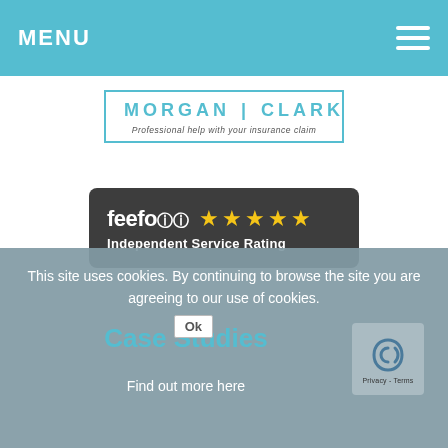MENU
[Figure (logo): Morgan Clark logo with tagline 'Professional help with your insurance claim']
[Figure (logo): Feefo 5-star Independent Service Rating badge]
This site uses cookies. By continuing to browse the site you are agreeing to our use of cookies.
Ok
Case Studies
Find out more here